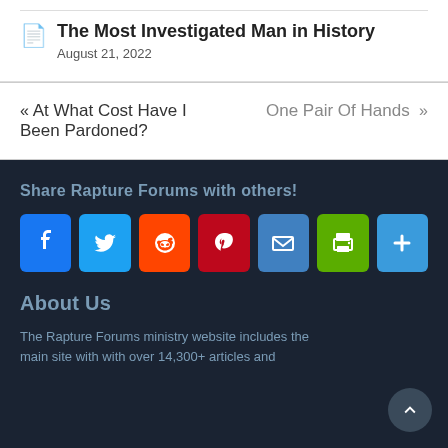The Most Investigated Man in History
August 21, 2022
« At What Cost Have I Been Pardoned?
One Pair Of Hands »
Share Rapture Forums with others!
[Figure (infographic): Social sharing buttons: Facebook, Twitter, Reddit, Pinterest, Email, Print, Share]
About Us
The Rapture Forums ministry website includes the main site with with over 14,300+ articles and